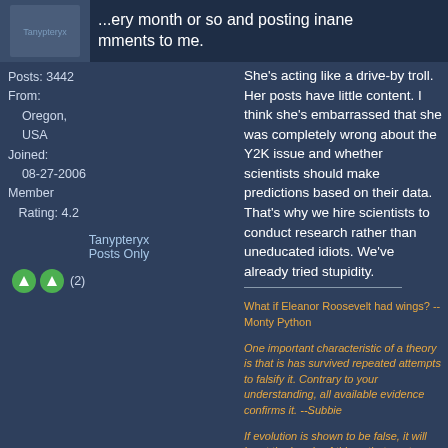...ery month or so and posting inane mments to me.
Posts: 3442
From:
    Oregon, USA
Joined:
    08-27-2006
Member
    Rating: 4.2
Tanypteryx
Posts Only
She's acting like a drive-by troll. Her posts have little content. I think she's embarrassed that she was completely wrong about the Y2K issue and whether scientists should make predictions based on their data. That's why we hire scientists to conduct research rather than uneducated idiots. We've already tried stupidity.
What if Eleanor Roosevelt had wings? -- Monty Python
One important characteristic of a theory is that is has survived repeated attempts to falsify it. Contrary to your understanding, all available evidence confirms it. --Subbie
If evolution is shown to be false, it will be at the hands of things that are true, not made up. --percy
The reason that we have the scientific method is because common sense isn't reliable. -- Taq
This message is a reply to:
Message 172 by ringo, posted 03-07-2022 10:54 AM
ringo has seen this message but not replied